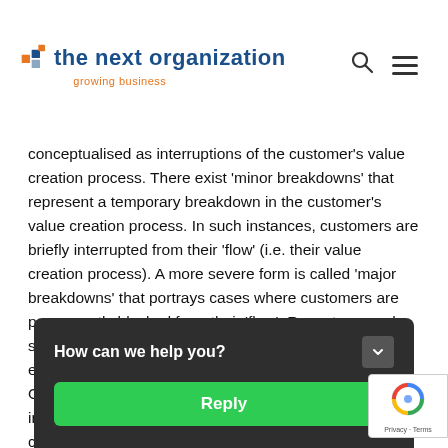the next organization — growing business
conceptualised as interruptions of the customer's value creation process. There exist 'minor breakdowns' that represent a temporary breakdown in the customer's value creation process. In such instances, customers are briefly interrupted from their 'flow' (i.e. their value creation process). A more severe form is called 'major breakdowns' that portrays cases where customers are permanently blocked from their 'flow'. Recent research shows that such breakdowns cause unreflective value experience to become reflective. So, despite its ne... O... in... cu...
How can we help you?
Reply